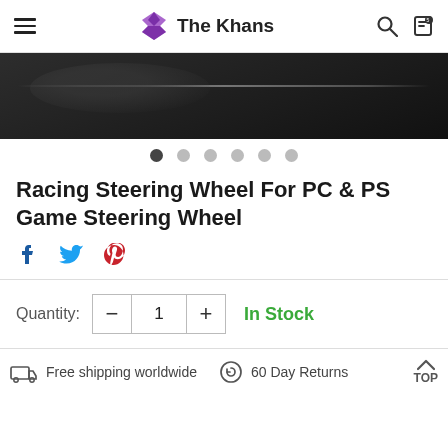The Khans
[Figure (photo): Dark product image of a racing steering wheel, black background with a subtle horizontal shine/reflection line.]
Carousel dots: 1 active, 5 inactive
Racing Steering Wheel For PC & PS Game Steering Wheel
Social share icons: Facebook, Twitter, Pinterest
Quantity: 1  In Stock
Free shipping worldwide   60 Day Returns